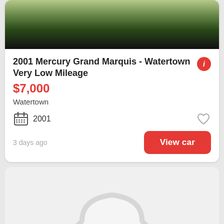[Figure (photo): Top portion of car listing photo showing trees and outdoor background]
2001 Mercury Grand Marquis - Watertown Very Low Mileage
$7,000
Watertown
2001
3 days ago
View car
[Figure (illustration): Placeholder car silhouette icon on gray background with See photo button]
See photo >